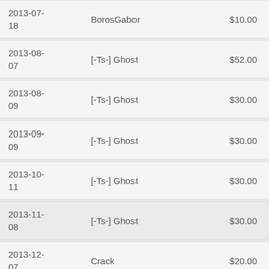| Date | Name | Amount |
| --- | --- | --- |
| 2013-07-18 | BorosGabor | $10.00 |
| 2013-08-07 | [-Ts-] Ghost | $52.00 |
| 2013-08-09 | [-Ts-] Ghost | $30.00 |
| 2013-09-09 | [-Ts-] Ghost | $30.00 |
| 2013-10-11 | [-Ts-] Ghost | $30.00 |
| 2013-11-08 | [-Ts-] Ghost | $30.00 |
| 2013-12-07 | Crack | $20.00 |
| 2013-12-09 | [-Ts-] Ghost | $12.00 |
| 2014-01-08 | Anonymous | $15.00 |
| 2014-01-08 | [-Ts-] Ghost | $15.00 |
| 2014-02-... |  |  |